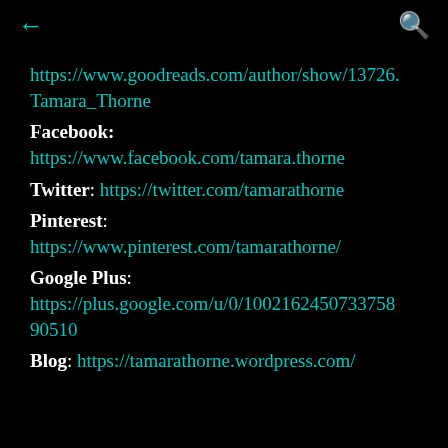← (back) | 🔍 (search)
https://www.goodreads.com/author/show/13726.Tamara_Thorne
Facebook: https://www.facebook.com/tamara.thorne
Twitter: https://twitter.com/tamarathorne
Pinterest: https://www.pinterest.com/tamarathorne/
Google Plus: https://plus.google.com/u/0/100216245073375890510
Blog: https://tamarathorne.wordpress.com/